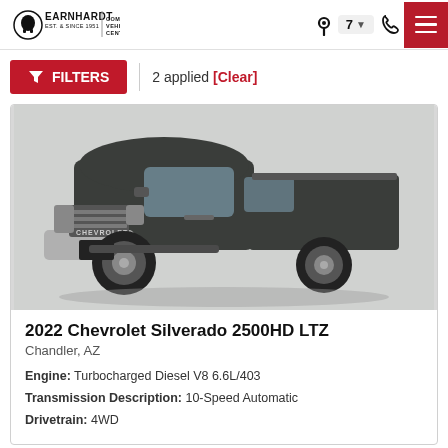EARNHARDT | COMMERCIAL VEHICLE CENTER
FILTERS | 2 applied [Clear]
[Figure (photo): Front three-quarter view of a dark gray 2022 Chevrolet Silverado 2500HD LTZ pickup truck on a white background]
2022 Chevrolet Silverado 2500HD LTZ
Chandler, AZ
Engine: Turbocharged Diesel V8 6.6L/403
Transmission Description: 10-Speed Automatic
Drivetrain: 4WD